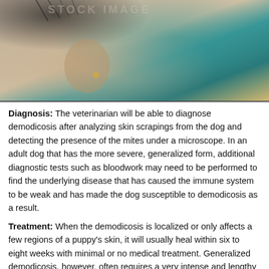[Figure (photo): Close-up photograph of a dog's head/ear area showing skin condition, with a teal/green background visible. The dog appears to have hair loss or skin changes consistent with demodicosis.]
Diagnosis: The veterinarian will be able to diagnose demodicosis after analyzing skin scrapings from the dog and detecting the presence of the mites under a microscope. In an adult dog that has the more severe, generalized form, additional diagnostic tests such as bloodwork may need to be performed to find the underlying disease that has caused the immune system to be weak and has made the dog susceptible to demodicosis as a result.
Treatment: When the demodicosis is localized or only affects a few regions of a puppy's skin, it will usually heal within six to eight weeks with minimal or no medical treatment. Generalized demodicosis, however, often requires a very intense and lengthy